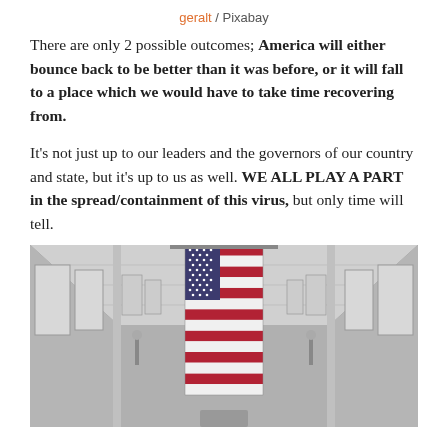geralt / Pixabay
There are only 2 possible outcomes; America will either bounce back to be better than it was before, or it will fall to a place which we would have to take time recovering from.
It's not just up to our leaders and the governors of our country and state, but it's up to us as well. WE ALL PLAY A PART in the spread/containment of this virus, but only time will tell.
[Figure (photo): Black and white interior of a large hall with a large American flag hanging vertically from the ceiling, with tall windows on both sides and ornate architecture.]